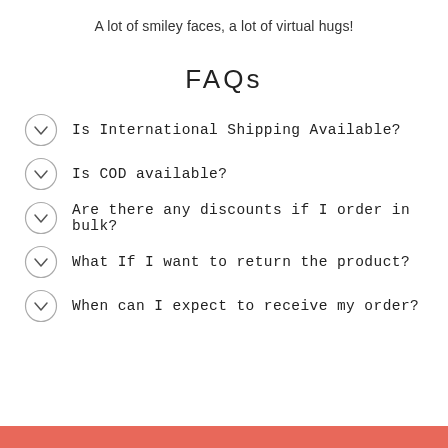A lot of smiley faces, a lot of virtual hugs!
FAQs
Is International Shipping Available?
Is COD available?
Are there any discounts if I order in bulk?
What If I want to return the product?
When can I expect to receive my order?